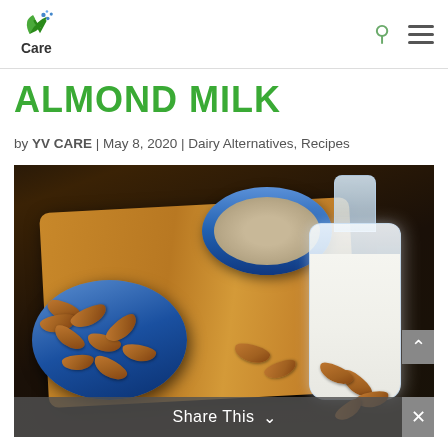[Figure (logo): YV Care logo with green leaf and blue dots icon above 'Care' text]
ALMOND MILK
by YV CARE | May 8, 2020 | Dairy Alternatives, Recipes
[Figure (photo): Photo of almonds in a blue bowl, ground almonds/oats in a blue bowl on a wooden board, and a glass bottle of almond milk, with scattered almonds on a dark surface]
Share This